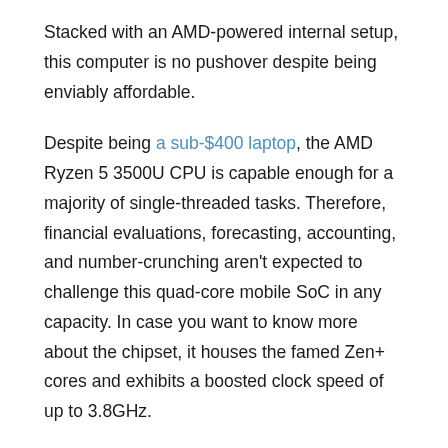Stacked with an AMD-powered internal setup, this computer is no pushover despite being enviably affordable.
Despite being a sub-$400 laptop, the AMD Ryzen 5 3500U CPU is capable enough for a majority of single-threaded tasks. Therefore, financial evaluations, forecasting, accounting, and number-crunching aren't expected to challenge this quad-core mobile SoC in any capacity. In case you want to know more about the chipset, it houses the famed Zen+ cores and exhibits a boosted clock speed of up to 3.8GHz.
As far as the graphics-based support is concerned, the Ryzen 5 chipset works closely with the integrated Radeon Vega 8 co-processor. In addition to the relevant processing conglomerate, the IdeaPad 3 also accommodates 8GB of RAM for efficient multitasking. While the system memory readily justifies the budget price tag, we were slightly